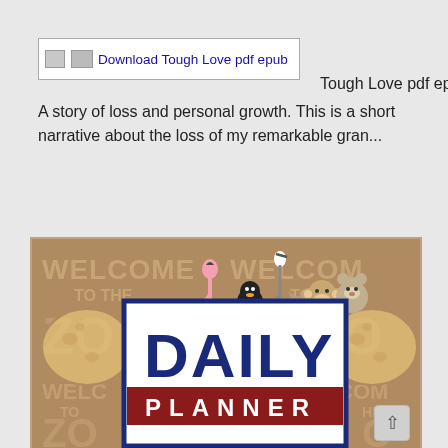[Figure (screenshot): Broken image placeholder with text 'Download Tough Love pdf epub' as a hyperlink button with border]
Tough Love pdf epub
A story of loss and personal growth. This is a short narrative about the loss of my remarkable gran...
[Figure (illustration): Zoo-themed daily planner book cover showing cartoon animals (flamingo, lion, penguin, monkey, cat, giraffe, bear) on a brown background with 'WELCOME TO THE ZOO' text repeated, and a white card overlay with 'DAILY PLANNER' in dark blue and red]